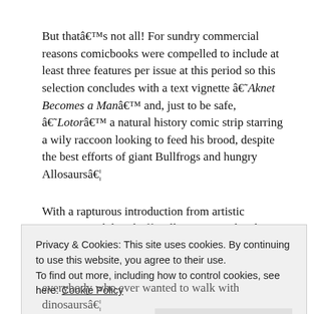But thatâ€™s not all! For sundry commercial reasons comicbooks were compelled to include at least three features per issue at this period so this selection concludes with a text vignette â€˜Aknet Becomes a Manâ€™ and, just to be safe, â€˜Lotorâ€™ a natural history comic strip starring a wily raccoon looking to feed his brood, despite the best efforts of giant Bullfrogs and hungry Allosaursâ€¦
With a rapturous introduction from artistic superstar and dino-buff William Stout, plus the assorted fact-features
Privacy & Cookies: This site uses cookies. By continuing to use this website, you agree to their use.
To find out more, including how to control cookies, see here: Cookie Policy
Close and accept
everybody who ever wanted to walk with dinosaursâ€¦